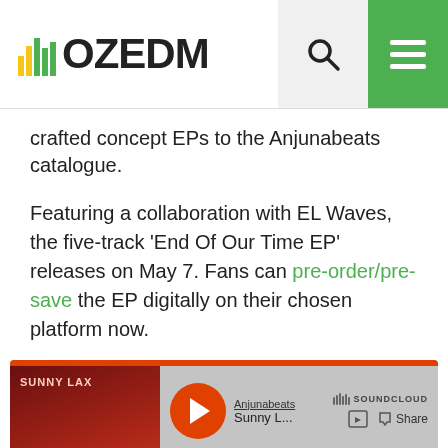OZEDM
crafted concept EPs to the Anjunabeats catalogue.
Featuring a collaboration with EL Waves, the five-track 'End Of Our Time EP' releases on May 7. Fans can pre-order/pre-save the EP digitally on their chosen platform now.
[Figure (screenshot): SoundCloud embedded player widget showing Anjunabeats / Sunny Lax track with Play on SoundCloud and Listen in browser buttons]